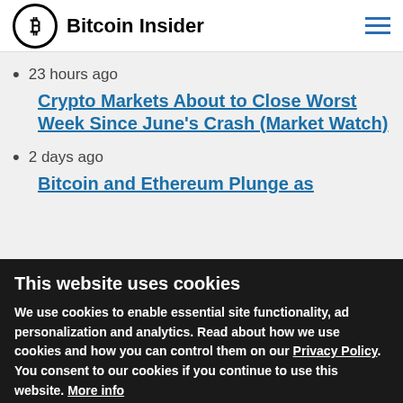Bitcoin Insider
23 hours ago
Crypto Markets About to Close Worst Week Since June's Crash (Market Watch)
2 days ago
Bitcoin and Ethereum Plunge as
This website uses cookies
We use cookies to enable essential site functionality, ad personalization and analytics. Read about how we use cookies and how you can control them on our Privacy Policy. You consent to our cookies if you continue to use this website. More info